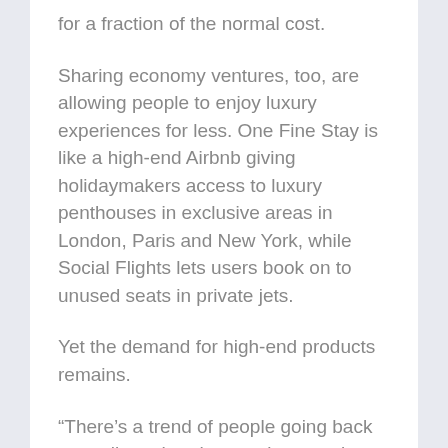for a fraction of the normal cost.
Sharing economy ventures, too, are allowing people to enjoy luxury experiences for less. One Fine Stay is like a high-end Airbnb giving holidaymakers access to luxury penthouses in exclusive areas in London, Paris and New York, while Social Flights lets users book on to unused seats in private jets.
Yet the demand for high-end products remains.
“There’s a trend of people going back to quality rather than paying premium for a brand,” says Sebastian. “People look at our collection and say that the quality we offer is something that they haven’t seen for a long time.”